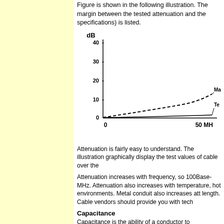Figure is shown in the following illustration. The margin between the tested attenuation and the specifications) is listed.
[Figure (continuous-plot): Line chart showing two curves from 0 to 50 MHz: a dashed curve (Max specification) rising to about 13 dB, and a solid nearly-flat line (Tested) near 0 dB. Labels 'Ma' and 'Te' visible at right edge.]
Attenuation is fairly easy to understand. The illustration graphically display the test values of cable over the
Attenuation increases with frequency, so 100Base-MHz. Attenuation also increases with temperature, hot environments. Metal conduit also increases att length. Cable vendors should provide you with tech
Capacitance
Capacitance is the ability of a conductor to